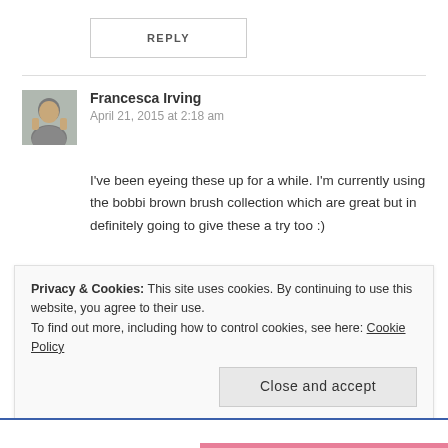REPLY
Francesca Irving
April 21, 2015 at 2:18 am
I've been eyeing these up for a while. I'm currently using the bobbi brown brush collection which are great but in definitely going to give these a try too :)
Like
REPLY
Privacy & Cookies: This site uses cookies. By continuing to use this website, you agree to their use.
To find out more, including how to control cookies, see here: Cookie Policy
Close and accept